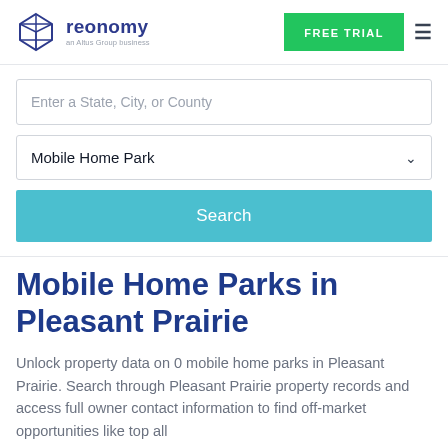[Figure (logo): Reonomy logo — geometric diamond/cube icon in dark blue/purple outline, next to 'reonomy' wordmark in dark blue-purple and 'an Altus Group business' subtitle in gray]
FREE TRIAL
Enter a State, City, or County
Mobile Home Park
Search
Mobile Home Parks in Pleasant Prairie
Unlock property data on 0 mobile home parks in Pleasant Prairie. Search through Pleasant Prairie property records and access full owner contact information to find off-market opportunities like top all